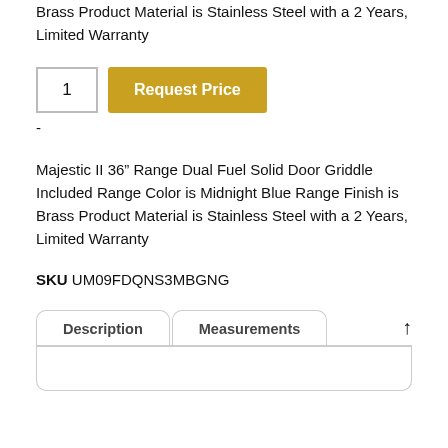Brass Product Material is Stainless Steel with a 2 Years, Limited Warranty
1  Request Price
-
Majestic II 36” Range Dual Fuel Solid Door Griddle Included Range Color is Midnight Blue Range Finish is Brass Product Material is Stainless Steel with a 2 Years, Limited Warranty
SKU UM09FDQNS3MBGNG
Description    Measurements